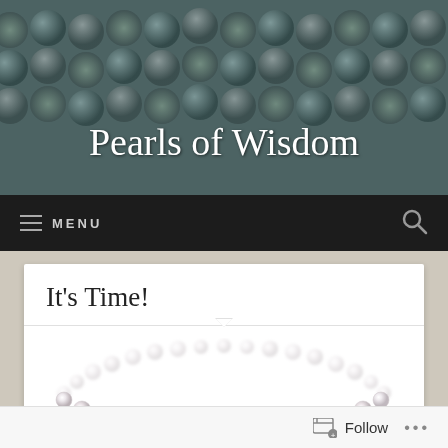Pearls of Wisdom
≡ MENU
It's Time!
[Figure (photo): Pearl bracelet with graduated white/cream pearls arranged in a circular shape on white background]
Follow ...